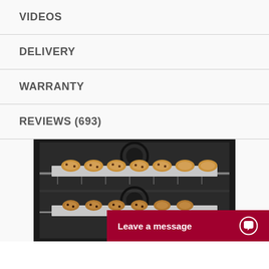VIDEOS
DELIVERY
WARRANTY
REVIEWS (693)
[Figure (photo): Two trays of chocolate chip cookies baking inside an oven, viewed through the open oven door. A chat widget bar reading 'Leave a message' with a chat bubble icon appears at the bottom right.]